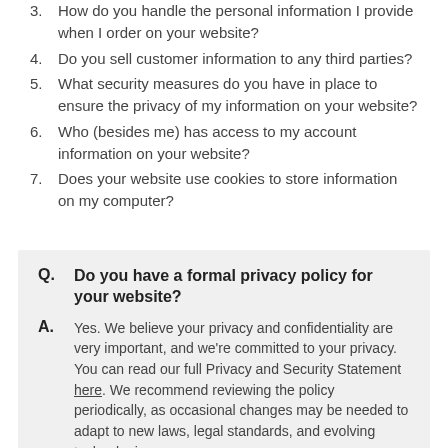3. How do you handle the personal information I provide when I order on your website?
4. Do you sell customer information to any third parties?
5. What security measures do you have in place to ensure the privacy of my information on your website?
6. Who (besides me) has access to my account information on your website?
7. Does your website use cookies to store information on my computer?
Q. Do you have a formal privacy policy for your website?
A. Yes. We believe your privacy and confidentiality are very important, and we're committed to your privacy. You can read our full Privacy and Security Statement here. We recommend reviewing the policy periodically, as occasional changes may be needed to adapt to new laws, legal standards, and evolving technologies.